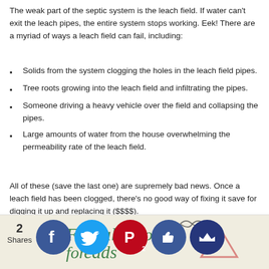The weak part of the septic system is the leach field. If water can't exit the leach pipes, the entire system stops working. Eek! There are a myriad of ways a leach field can fail, including:
Solids from the system clogging the holes in the leach field pipes.
Tree roots growing into the leach field and infiltrating the pipes.
Someone driving a heavy vehicle over the field and collapsing the pipes.
Large amounts of water from the house overwhelming the permeability rate of the leach field.
All of these (save the last one) are supremely bad news. Once a leach field has been clogged, there's no good way of fixing it save for digging it up and replacing it ($$$$).
[Figure (screenshot): Social sharing bar with share count '2 Shares', Facebook, Twitter, Pinterest, thumbs-up, and crown icons, with handwritten background text.]